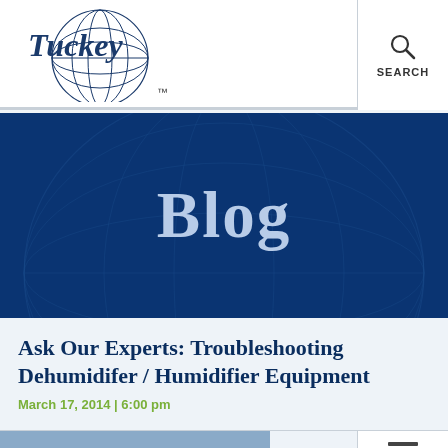Tuckey™ — SEARCH
[Figure (logo): Tuckey logo with globe and script text, TM mark]
Blog
Ask Our Experts: Troubleshooting Dehumidifer / Humidifier Equipment
March 17, 2014 | 6:00 pm
CONTACT US
MENU